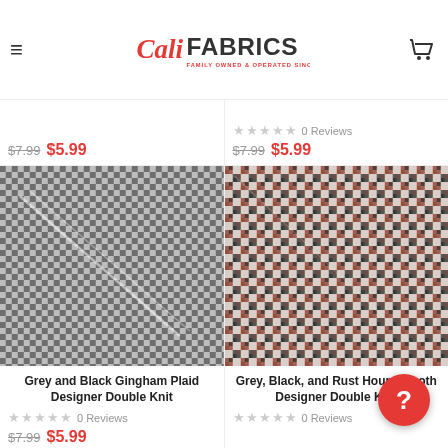CaliFabrics - Family Owned & Operated Since 2011
$7.99 $5.99
0 Reviews $7.99 $5.99
[Figure (photo): Grey and Black Gingham Plaid Designer Double Knit fabric close-up showing small checkered plaid pattern in grey and black]
Grey and Black Gingham Plaid Designer Double Knit
0 Reviews $7.99 $5.99
[Figure (photo): Grey, Black, and Rust Houndstooth Designer Double Knit fabric close-up showing houndstooth pattern in grey, black and rust/brown]
Grey, Black, and Rust Houndstooth Designer Double Knit
0 Reviews